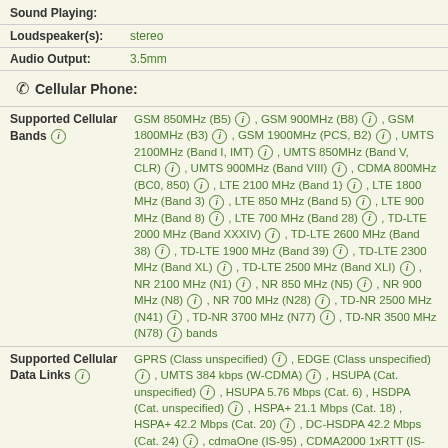Sound Playing:
Loudspeaker(s): stereo
Audio Output: 3.5mm
Cellular Phone:
Supported Cellular Bands (i): GSM 850MHz (B5), GSM 900MHz (B8), GSM 1800MHz (B3), GSM 1900MHz (PCS, B2), UMTS 2100MHz (Band I, IMT), UMTS 850MHz (Band V, CLR), UMTS 900MHz (Band VIII), CDMA 800MHz (BC0, 850), LTE 2100 MHz (Band 1), LTE 1800 MHz (Band 3), LTE 850 MHz (Band 5), LTE 900 MHz (Band 8), LTE 700 MHz (Band 28), TD-LTE 2000 MHz (Band XXXIV), TD-LTE 2600 MHz (Band 38), TD-LTE 1900 MHz (Band 39), TD-LTE 2300 MHz (Band XL), TD-LTE 2500 MHz (Band XLI), NR 2100 MHz (N1), NR 850 MHz (N5), NR 900 MHz (N8), NR 700 MHz (N28), TD-NR 2500 MHz (N41), TD-NR 3700 MHz (N77), TD-NR 3500 MHz (N78) bands
Supported Cellular Data Links (i): GPRS (Class unspecified), EDGE (Class unspecified), UMTS 384 kbps (W-CDMA), HSUPA (Cat. unspecified), HSUPA 5.76 Mbps (Cat. 6), HSDPA (Cat. unspecified), HSPA+ 21.1 Mbps (Cat. 18), HSPA+ 42.2 Mbps (Cat. 20), DC-HSDPA 42.2 Mbps (Cat. 24), cdmaOne (IS-95), CDMA2000 1xRTT (IS-2000), CDMA2000 1xEV-DO Rel. 0, CDMA2000 1xEV-DO Revision A, LTE (Cat.